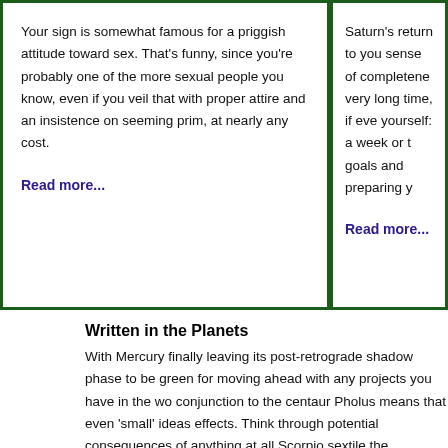Your sign is somewhat famous for a priggish attitude toward sex. That's funny, since you're probably one of the more sexual people you know, even if you veil that with proper attire and an insistence on seeming prim, at nearly any cost.
Read more...
Saturn's return to you sense of completene very long time, if eve yourself: a week or t goals and preparing y
Read more...
Written in the Planets
With Mercury finally leaving its post-retrograde shadow phase to be green for moving ahead with any projects you have in the wo conjunction to the centaur Pholus means that even 'small' ideas effects. Think through potential consequences of anything at all Scorpio sextile the Capricorn Sun is keeping the 'super-sextile' in green light for a wide spectrum of work to be done. Getting phy energy most fully — whether solo or with others. The Moon in S